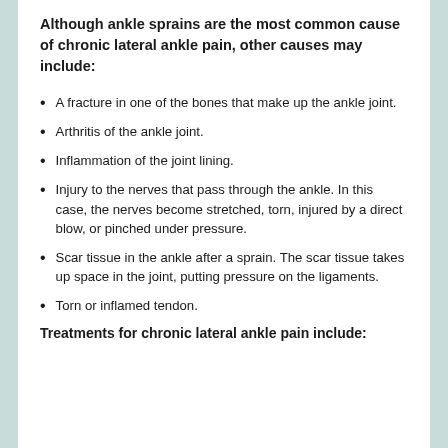Although ankle sprains are the most common cause of chronic lateral ankle pain, other causes may include:
A fracture in one of the bones that make up the ankle joint.
Arthritis of the ankle joint.
Inflammation of the joint lining.
Injury to the nerves that pass through the ankle. In this case, the nerves become stretched, torn, injured by a direct blow, or pinched under pressure.
Scar tissue in the ankle after a sprain. The scar tissue takes up space in the joint, putting pressure on the ligaments.
Torn or inflamed tendon.
Treatments for chronic lateral ankle pain include: